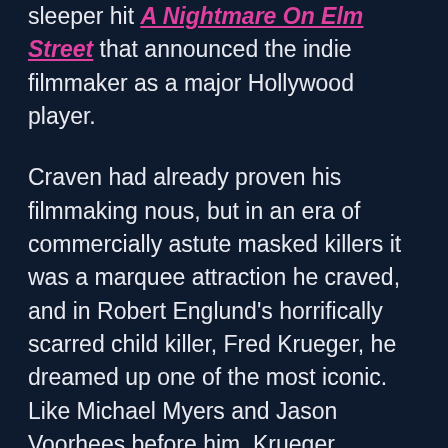sleeper hit A Nightmare On Elm Street that announced the indie filmmaker as a major Hollywood player.
Craven had already proven his filmmaking nous, but in an era of commercially astute masked killers it was a marquee attraction he craved, and in Robert Englund's horrifically scarred child killer, Fred Krueger, he dreamed up one of the most iconic. Like Michael Myers and Jason Voorhees before him, Krueger spawned the kind of undying franchise that transformed a faltering production company into a surging goldmine. So successful was Craven's creation that Robert